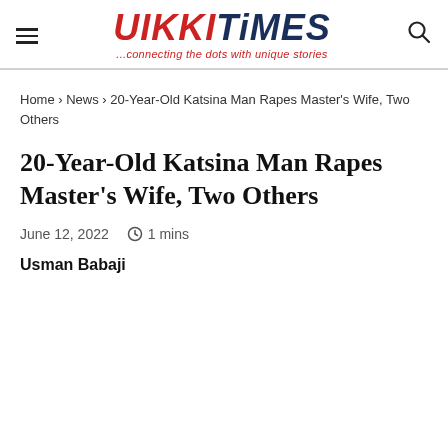WIKKITIMES ...connecting the dots with unique stories
Home › News › 20-Year-Old Katsina Man Rapes Master's Wife, Two Others
20-Year-Old Katsina Man Rapes Master's Wife, Two Others
June 12, 2022  1 mins
Usman Babaji